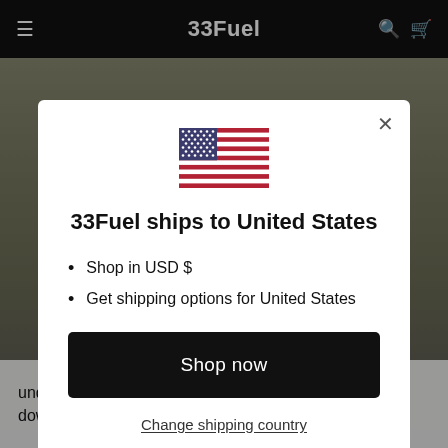33Fuel
[Figure (screenshot): Modal dialog on a 33Fuel website showing a US flag, shipping information for United States, a Shop now button, and a Change shipping country link. Background shows a navigation bar and landscape image.]
33Fuel ships to United States
Shop in USD $
Get shipping options for United States
Shop now
Change shipping country
understandable. But thinking like this only slows you down. It’s hard, but what you have to switch off